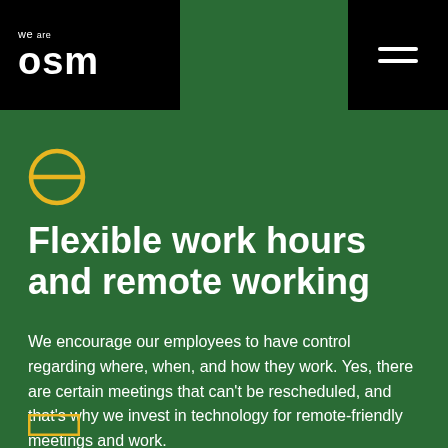we are osm
[Figure (logo): Yellow circle with horizontal line through center (OSM logo icon)]
Flexible work hours and remote working
We encourage our employees to have control regarding where, when, and how they work. Yes, there are certain meetings that can't be rescheduled, and that's why we invest in technology for remote-friendly meetings and work.
[Figure (illustration): Partial yellow square/rectangle icon at bottom left, partially cut off]